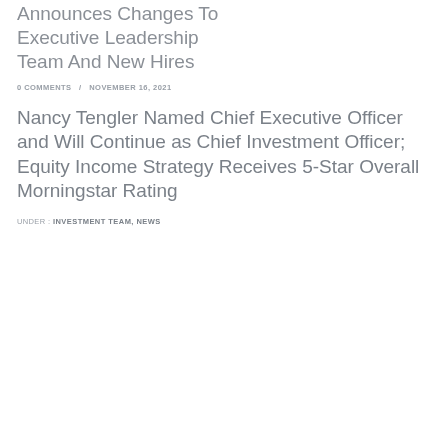Laffer Tengler Investments Announces Changes To Executive Leadership Team And New Hires
0 COMMENTS  /  NOVEMBER 16, 2021
Nancy Tengler Named Chief Executive Officer and Will Continue as Chief Investment Officer; Equity Income Strategy Receives 5-Star Overall Morningstar Rating
UNDER :  INVESTMENT TEAM,  NEWS